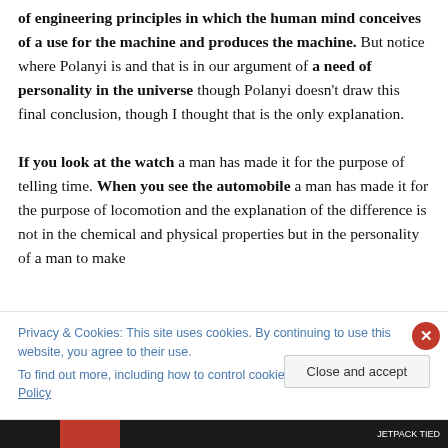of engineering principles in which the human mind conceives of a use for the machine and produces the machine. But notice where Polanyi is and that is in our argument of a need of personality in the universe though Polanyi doesn't draw this final conclusion, though I thought that is the only explanation.

If you look at the watch a man has made it for the purpose of telling time. When you see the automobile a man has made it for the purpose of locomotion and the explanation of the difference is not in the chemical and physical properties but in the personality of a man to make
Privacy & Cookies: This site uses cookies. By continuing to use this website, you agree to their use.
To find out more, including how to control cookies, see here: Cookie Policy
Close and accept